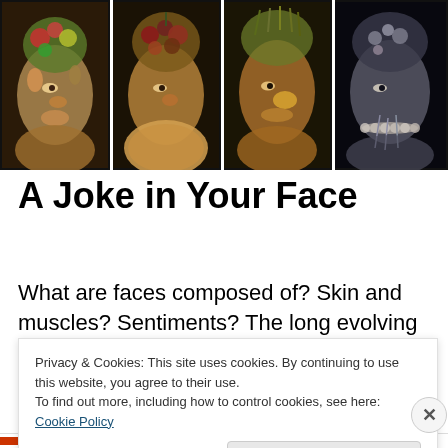[Figure (illustration): Four Arcimboldo-style portrait paintings arranged side by side in a grid. Each portrait shows a human face composed of seasonal natural elements such as fruits, vegetables, flowers, and other organic materials, against dark backgrounds.]
A Joke in Your Face
What are faces composed of? Skin and muscles? Sentiments? The long evolving cycle of events mirrored on our eyes and smile? I thought about these questions when
Privacy & Cookies: This site uses cookies. By continuing to use this website, you agree to their use.
To find out more, including how to control cookies, see here: Cookie Policy
Close and accept